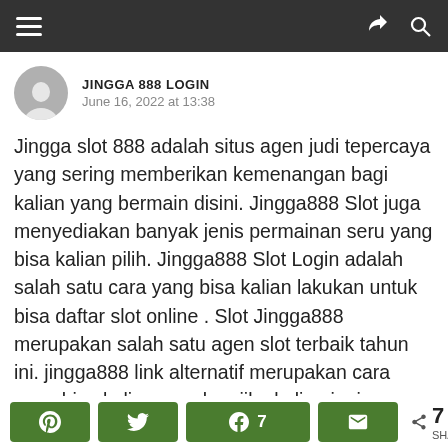Navigation bar with hamburger menu, share icon, search icon
JINGGA 888 LOGIN
June 16, 2022 at 13:38
Jingga slot 888 adalah situs agen judi tepercaya yang sering memberikan kemenangan bagi kalian yang bermain disini. Jingga888 Slot juga menyediakan banyak jenis permainan seru yang bisa kalian pilih. Jingga888 Slot Login adalah salah satu cara yang bisa kalian lakukan untuk bisa daftar slot online . Slot Jingga888 merupakan salah satu agen slot terbaik tahun ini. jingga888 link alternatif merupakan cara yang bisa kalian gunakan jika kalian ingin
Share buttons: Pinterest, Twitter, Facebook (7), Email | 7 SHARES